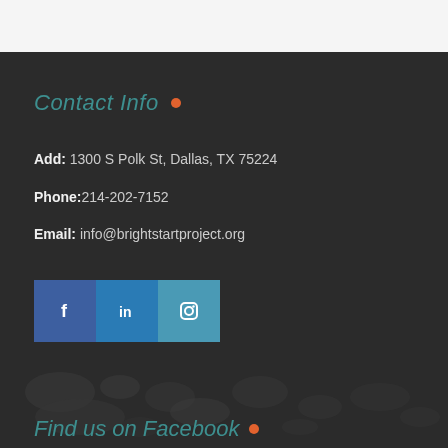Contact Info •
Add: 1300 S Polk St, Dallas, TX 75224
Phone: 214-202-7152
Email: info@brightstartproject.org
[Figure (infographic): Social media icons: Facebook (blue), LinkedIn (blue), Instagram (teal)]
[Figure (illustration): World map watermark background in dark gray tones]
Find us on Facebook •